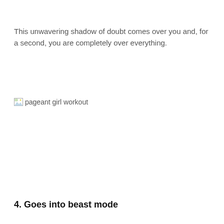This unwavering shadow of doubt comes over you and, for a second, you are completely over everything.
[Figure (photo): Broken image placeholder with alt text 'pageant girl workout']
4. Goes into beast mode